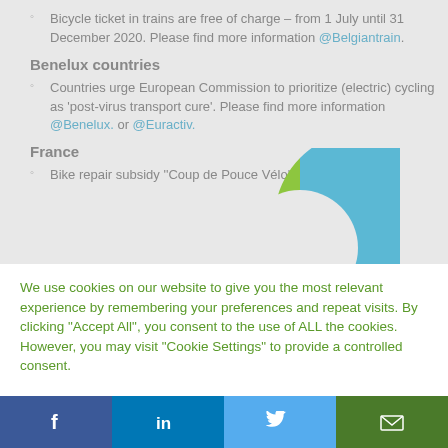Bicycle ticket in trains are free of charge – from 1 July until 31 December 2020. Please find more information @Belgiantrain.
Benelux countries
Countries urge European Commission to prioritize (electric) cycling as 'post-virus transport cure'. Please find more information @Benelux. or @Euractiv.
France
Bike repair subsidy ''Coup de Pouce Vélo''- €50 for
[Figure (donut-chart): Donut chart with blue top portion and green bottom portion]
We use cookies on our website to give you the most relevant experience by remembering your preferences and repeat visits. By clicking "Accept All", you consent to the use of ALL the cookies. However, you may visit "Cookie Settings" to provide a controlled consent.
Cookie Settings | Accept All
f  in  Twitter bird  Email icon